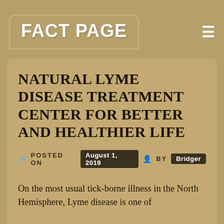FACT PAGE
NATURAL LYME DISEASE TREATMENT CENTER FOR BETTER AND HEALTHIER LIFE
POSTED ON August 1, 2019 BY Bridger
On the most usual tick-borne illness in the North Hemisphere, Lyme disease is one of